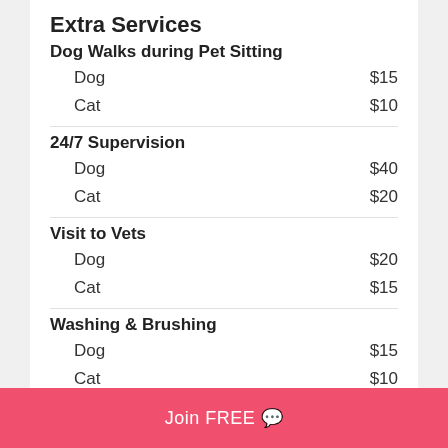Extra Services
Dog Walks during Pet Sitting
Dog  $15
Cat  $10
24/7 Supervision
Dog  $40
Cat  $20
Visit to Vets
Dog  $20
Cat  $15
Washing & Brushing
Dog  $15
Cat  $10
Join FREE 💬